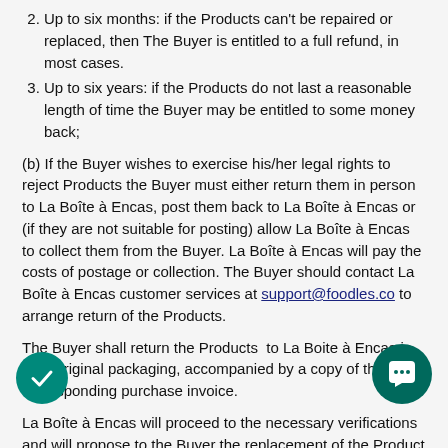Up to six months: if the Products can't be repaired or replaced, then The Buyer is entitled to a full refund, in most cases.
Up to six years: if the Products do not last a reasonable length of time the Buyer may be entitled to some money back;
(b) If the Buyer wishes to exercise his/her legal rights to reject Products the Buyer must either return them in person to La Boîte à Encas, post them back to La Boîte à Encas or (if they are not suitable for posting) allow La Boîte à Encas to collect them from the Buyer. La Boîte à Encas will pay the costs of postage or collection. The Buyer should contact La Boîte à Encas customer services at support@foodles.co to arrange return of the Products.
The Buyer shall return the Products  to La Boite à Encas in their original packaging, accompanied by a copy of the corresponding purchase invoice.
La Boîte à Encas will proceed to the necessary verifications and will propose to the Buyer the replacement of the Product